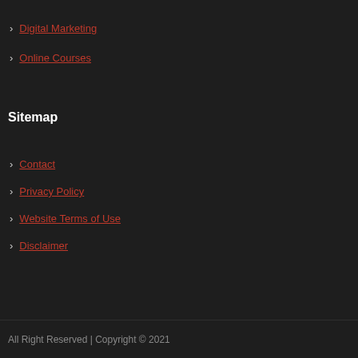Digital Marketing
Online Courses
Sitemap
Contact
Privacy Policy
Website Terms of Use
Disclaimer
All Right Reserved | Copyright © 2021